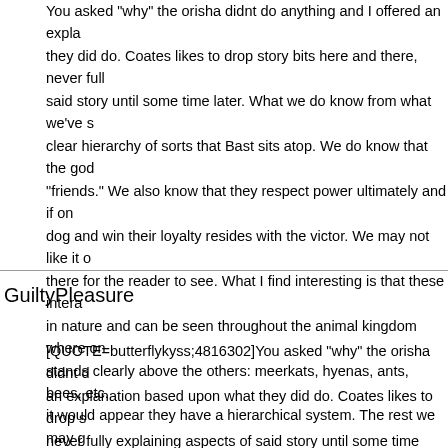You asked "why" the orisha didnt do anything and I offered an explanation based upon what they did do. Coates likes to drop story bits here and there, never fully explaining aspects of said story until some time later. What we do know from what we've seen is that there is a clear hierarchy of sorts that Bast sits atop. We do know that the gods do not interact as "friends." We also know that they respect power ultimately and if one can challenge the top dog and win their loyalty resides with the victor. We may not like it or understand it but it's there for the reader to see. What I find interesting is that these interactions are very primal in nature and can be seen throughout the animal kingdom where one individual member stands clearly above the others: meerkats, hyenas, ants, bees, etc. From this small showing it would appear they have a hierarchical system. The rest we may get later and yes they didnt do anything I assume to mirror how the wakandans b
GuiltyPleasure
[QUOTE=butterflykyss;4816302]You asked "why" the orisha didnt do anything and I offered an explanation based upon what they did do. Coates likes to drop story bits here and there, never fully explaining aspects of said story until some time later. What we do know from what we've seen is that there is a clear hierarchy of sorts that Bast sits atop. We do know that the gods do not interact as "friends." We also know that they respect power ultimately and if one can challenge the top dog and win their loyalty resides with the victor. We may not like it or understand it but it's there for the reader to see. What I find interesting is that these interactions are very primal in nature and can be seen throughout the animal kingdom where one individual member stands clearly above the others: meerkats, bees, etc. From this small showing it would appear they have a hier